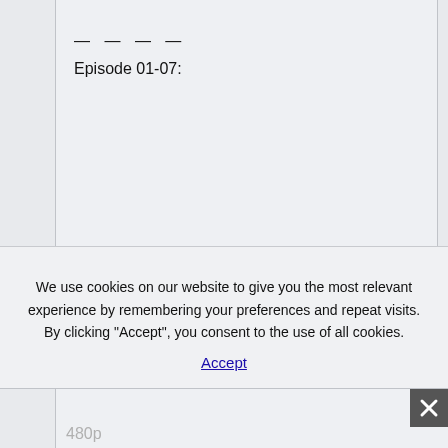— — — —
Episode 01-07:
We use cookies on our website to give you the most relevant experience by remembering your preferences and repeat visits. By clicking “Accept”, you consent to the use of all cookies.
Accept
Link 01
480p